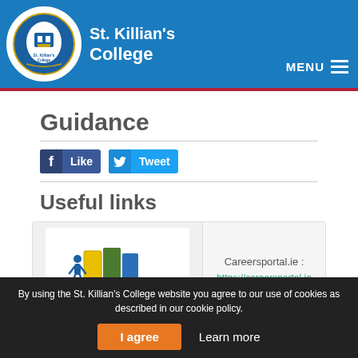[Figure (logo): St. Killian's College circular logo with school crest]
St. Killian's College
MENU
Guidance
[Figure (other): Facebook Like button and Twitter Tweet button]
Useful links
[Figure (logo): CareersPortal.ie logo with colorful door graphics and blue figure]
Careersportal.ie : https://careersportal.ie
By using the St. Killian's College website you agree to our use of cookies as described in our cookie policy.
I agree
Learn more